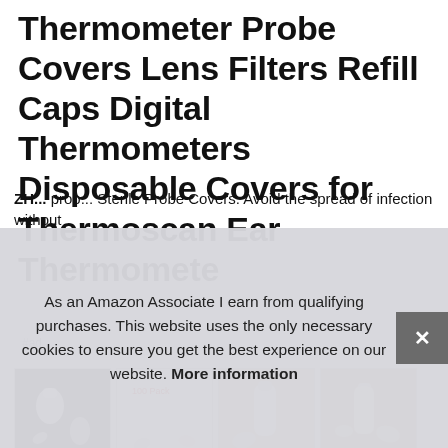Thermometer Probe Covers Lens Filters Refill Caps Digital Thermometers Disposable Covers for Thermoscan Ear Thermomete
#ad
[Figure (photo): Four thumbnail product images showing transparent/white ear thermometer probe covers. First image: dark background with multiple probe covers. Second image: white/light background with probe covers labeled '100 Pack'. Third image: beige/burlap background showing probe cover components. Fourth image: tan background showing probe cover parts.]
As an Amazon Associate I earn from qualifying purchases. This website uses the only necessary cookies to ensure you get the best experience on our website. More information
ZH... probe... Sterile Probe Covers. Avoid the spread of infection without